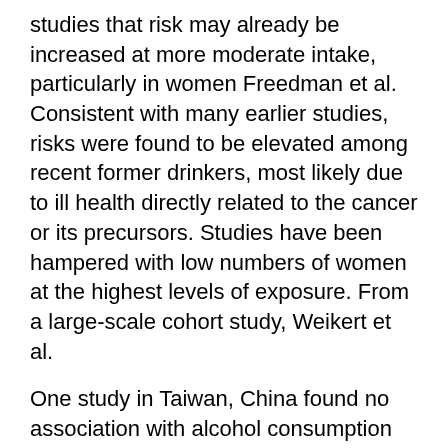studies that risk may already be increased at more moderate intake, particularly in women Freedman et al. Consistent with many earlier studies, risks were found to be elevated among recent former drinkers, most likely due to ill health directly related to the cancer or its precursors. Studies have been hampered with low numbers of women at the highest levels of exposure. From a large-scale cohort study, Weikert et al.
One study in Taiwan, China found no association with alcohol consumption among non-smoking ever-drinkers for cancer of the oral cavity Yen et al. The joint effect of alcohol consumption and tobacco smoking on the risk of cancers of the oral cavity and pharynx is described in Section 2.
Cancer of the larynx It was concluded in the previous IARC Monograph IARC, that consumption of